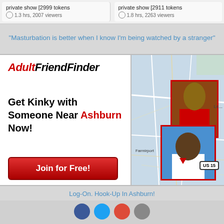private show [2999 tokens]
1.3 hrs, 2007 viewers
private show [2911 tokens]
1.8 hrs, 2263 viewers
"Masturbation is better when I know I'm being watched by a stranger"
[Figure (infographic): AdultFriendFinder advertisement banner with logo, text 'Get Kinky with Someone Near Ashburn Now!' and 'Join for Free!' button alongside a map showing photo pins near Farmport area with US 15 highway marker]
Log-On. Hook-Up In Ashburn!